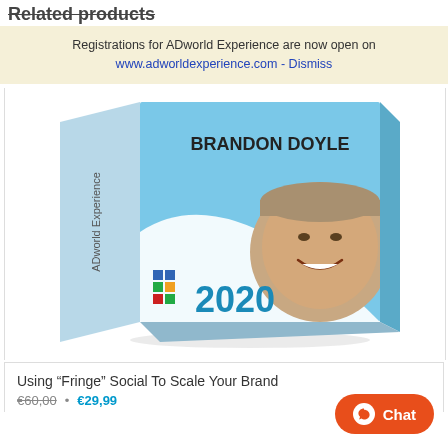Related products
Registrations for ADworld Experience are now open on www.adworldexperience.com - Dismiss
[Figure (photo): Product box for ADworld Experience 2020 featuring Brandon Doyle, with a light blue box design showing his portrait photo, the year 2020, and colorful squares logo]
Using “Fringe” Social To Scale Your Brand
€60,00 • €29,99